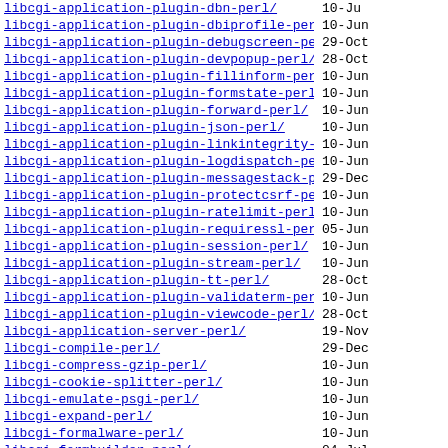| Name | Date |
| --- | --- |
| libcgi-application-plugin-dbn-perl/ | 10-Ju |
| libcgi-application-plugin-dbiprofile-perl/ | 10-Jun |
| libcgi-application-plugin-debugscreen-perl/ | 29-Oct |
| libcgi-application-plugin-devpopup-perl/ | 28-Oct |
| libcgi-application-plugin-fillinform-perl/ | 10-Jun |
| libcgi-application-plugin-formstate-perl/ | 10-Jun |
| libcgi-application-plugin-forward-perl/ | 10-Jun |
| libcgi-application-plugin-json-perl/ | 10-Jun |
| libcgi-application-plugin-linkintegrity-perl/ | 10-Jun |
| libcgi-application-plugin-logdispatch-perl/ | 10-Jun |
| libcgi-application-plugin-messagestack-perl/ | 29-Dec |
| libcgi-application-plugin-protectcsrf-perl/ | 10-Jun |
| libcgi-application-plugin-ratelimit-perl/ | 10-Jun |
| libcgi-application-plugin-requiressl-perl/ | 05-Jun |
| libcgi-application-plugin-session-perl/ | 10-Jun |
| libcgi-application-plugin-stream-perl/ | 10-Jun |
| libcgi-application-plugin-tt-perl/ | 28-Oct |
| libcgi-application-plugin-validaterm-perl/ | 10-Jun |
| libcgi-application-plugin-viewcode-perl/ | 28-Oct |
| libcgi-application-server-perl/ | 19-Nov |
| libcgi-compile-perl/ | 29-Dec |
| libcgi-compress-gzip-perl/ | 10-Jun |
| libcgi-cookie-splitter-perl/ | 10-Jun |
| libcgi-emulate-psgi-perl/ | 10-Jun |
| libcgi-expand-perl/ | 10-Jun |
| libcgi-formalware-perl/ | 10-Jun |
| libcgi-formbuilder-perl/ | 04-Jul |
| libcgi-formbuilder-source-perl-perl/ | 09-Jan |
| libcgi-formbuilder-source-yaml-perl/ | 10-Jun |
| libcgi-github-webhook-perl/ | 08-Jan |
| libcgi-... | 11-... |